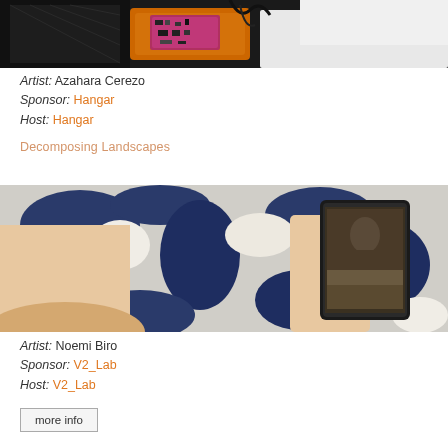[Figure (photo): Close-up photo of electronic circuit board components, orange hardware, black mesh, cables on white surface]
Artist: Azahara Cerezo
Sponsor: Hangar
Host: Hangar
Decomposing Landscapes
[Figure (photo): Person holding a smartphone over a blue and white artistic print or textile, the phone screen shows a close-up image]
Artist: Noemi Biro
Sponsor: V2_Lab
Host: V2_Lab
more info